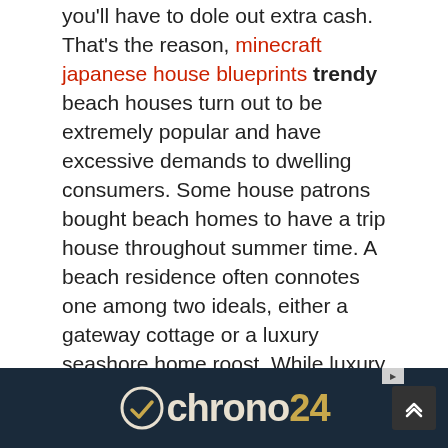you'll have to dole out extra cash. That's the reason, minecraft japanese house blueprints trendy beach houses turn out to be extremely popular and have excessive demands to dwelling consumers. Some house patrons bought beach homes to have a trip house throughout summer time. A beach residence often connotes one among two ideals, either a gateway cottage or a luxury seashore home roost. While luxury seaside residence are those expensive ones which can be often made as an everyday house. There are fairly a couple of to choose from however the most popular ones are the Dory, Jon, or Whale Boat. Along with the contemporary A-Frame and Shed house plans, there are countless other types of beautiful home plans to look at.
[Figure (logo): Chrono24 logo and advertisement bar with dark navy background, showing a checkmark/circle icon and the text 'chrono24' with the number 24 in gold]